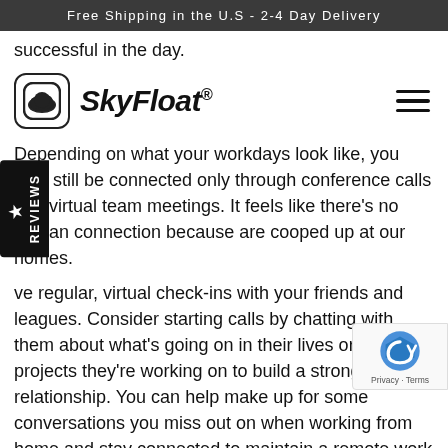Free Shipping in the U.S - 2-4 Day Delivery
successful in the day.
[Figure (logo): SkyFloat logo with cloud icon in rounded square and brand name in italic bold text with registered trademark symbol]
Depending on what your workdays look like, you may still be connected only through conference calls and virtual team meetings. It feels like there's no human connection because are cooped up at our homes.
ve regular, virtual check-ins with your friends and leagues. Consider starting calls by chatting with them about what's going on in their lives or big projects they're working on to build a strong relationship. You can help make up for some conversations you miss out on when working from home and stay connected to maintain a remote work culture. Make sure to keep in mind that we're experiencing many things during this time due to the pandemic. You more flexible with yourself and with colleagues.
Also, you have to acknowledge that meetings may need to be